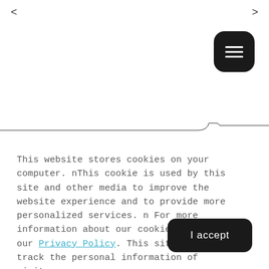< >
[Figure (other): Hamburger menu button (dark rounded square with three white horizontal lines) in top right corner]
This website stores cookies on your computer. nThis cookie is used by this site and other media to improve the website experience and to provide more personalized services. n For more information about our cookies, please see our Privacy Policy.  This site does not track the personal information of visitors.
I accept